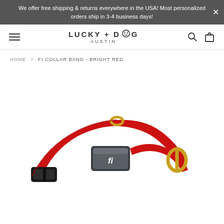We offer free shipping & returns everywhere in the USA! Most personalized orders ship in 3-4 business days!
[Figure (logo): Lucky + Dog Austin logo with hamburger menu, search and cart icons in navigation bar]
HOME > FI COLLAR BAND - BRIGHT RED
[Figure (photo): A bright red dog collar with a black plastic buckle, gold D-ring, and a silver Fi GPS tracker device attached to the collar band.]